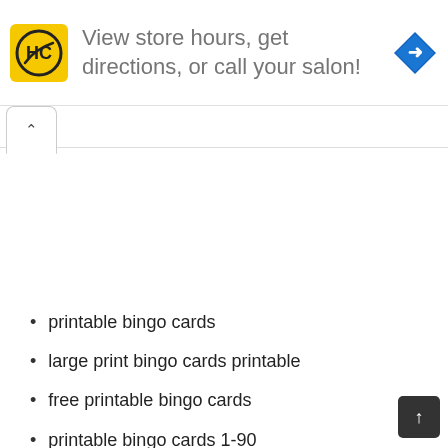[Figure (infographic): Advertisement banner with HC (Haircuttery) yellow logo on left, text 'View store hours, get directions, or call your salon!' in gray, and a blue diamond navigation arrow icon on the right]
[Figure (screenshot): Browser UI element: a tab button with an upward caret/chevron symbol, indicating a collapsed or scrolled tab]
printable bingo cards
large print bingo cards printable
free printable bingo cards
printable bingo cards 1-90
bingo cards printable free